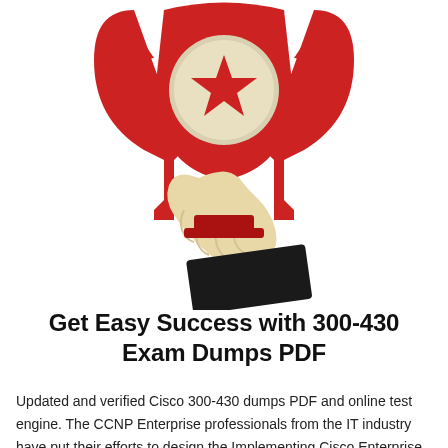[Figure (illustration): A red trophy being held by a hand with a cream/beige skin tone. The trophy has a star emblem on it and red handles. Below the hand is a dark/black rectangular base or podium.]
Get Easy Success with 300-430 Exam Dumps PDF
Updated and verified Cisco 300-430 dumps PDF and online test engine. The CCNP Enterprise professionals from the IT industry have put their efforts to design the Implementing Cisco Enterprise Wireless Networks Exam dumps. Our 300-430 exam dumps PDF